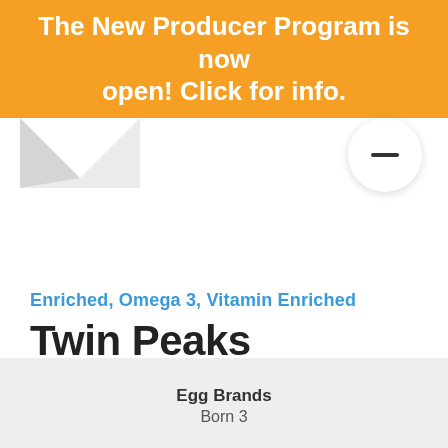The New Producer Program is now open! Click for info.
[Figure (illustration): Partial chevron/arrow shape on the left side below the orange banner, partially cut off]
[Figure (illustration): White circle button with a minus/dash line icon on the right side below the orange banner]
Enriched, Omega 3, Vitamin Enriched
Twin Peaks
Langley Township, BC
Egg Brands
Born 3